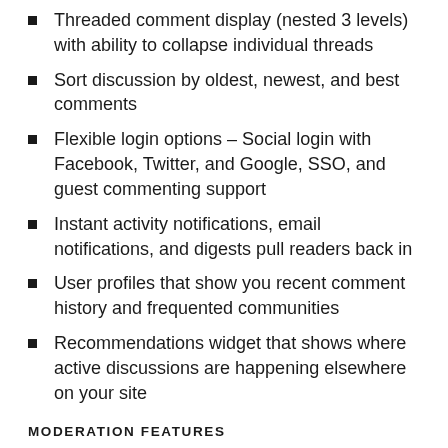Threaded comment display (nested 3 levels) with ability to collapse individual threads
Sort discussion by oldest, newest, and best comments
Flexible login options – Social login with Facebook, Twitter, and Google, SSO, and guest commenting support
Instant activity notifications, email notifications, and digests pull readers back in
User profiles that show you recent comment history and frequented communities
Recommendations widget that shows where active discussions are happening elsewhere on your site
MODERATION FEATURES
Automatic anti-spam filter powered by Akismet
Automated pre-moderation controls to flag